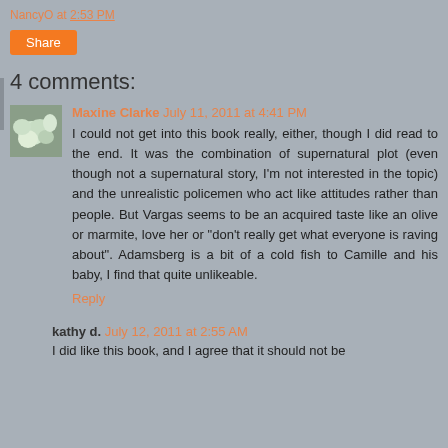NancyO at 2:53 PM
Share
4 comments:
Maxine Clarke July 11, 2011 at 4:41 PM
I could not get into this book really, either, though I did read to the end. It was the combination of supernatural plot (even though not a supernatural story, I'm not interested in the topic) and the unrealistic policemen who act like attitudes rather than people. But Vargas seems to be an acquired taste like an olive or marmite, love her or "don't really get what everyone is raving about". Adamsberg is a bit of a cold fish to Camille and his baby, I find that quite unlikeable.
Reply
kathy d. July 12, 2011 at 2:55 AM
I did like this book, and I agree that it should not be...